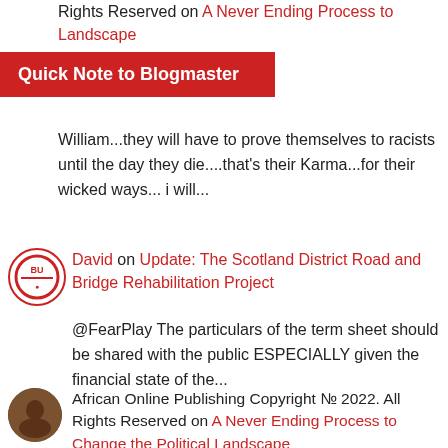Rights Reserved on A Never Ending Process to Landscape
Quick Note to Blogmaster
William...they will have to prove themselves to racists until the day they die....that's their Karma...for their wicked ways... i will...
David on Update: The Scotland District Road and Bridge Rehabilitation Project
@FearPlay The particulars of the term sheet should be shared with the public ESPECIALLY given the financial state of the...
African Online Publishing Copyright © 2022. All Rights Reserved on A Never Ending Process to Change the Political Landscape
'That has driven the nail in our coffin.' all they need is their respective holes...there is no coming out of...